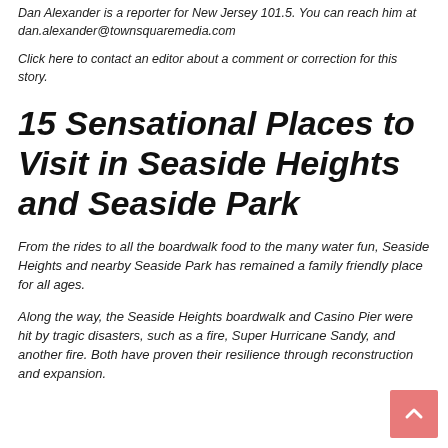Dan Alexander is a reporter for New Jersey 101.5. You can reach him at dan.alexander@townsquaremedia.com
Click here to contact an editor about a comment or correction for this story.
15 Sensational Places to Visit in Seaside Heights and Seaside Park
From the rides to all the boardwalk food to the many water fun, Seaside Heights and nearby Seaside Park has remained a family friendly place for all ages.
Along the way, the Seaside Heights boardwalk and Casino Pier were hit by tragic disasters, such as a fire, Super Hurricane Sandy, and another fire. Both have proven their resilience through reconstruction and expansion.